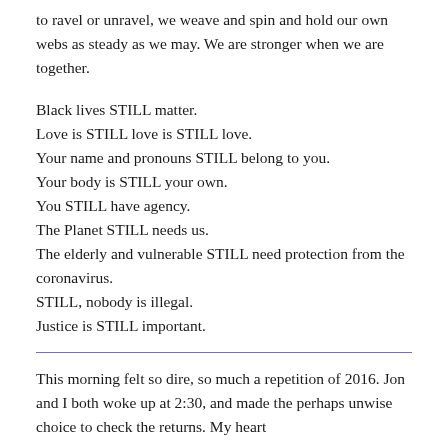to ravel or unravel, we weave and spin and hold our own webs as steady as we may. We are stronger when we are together.
Black lives STILL matter.
Love is STILL love is STILL love.
Your name and pronouns STILL belong to you.
Your body is STILL your own.
You STILL have agency.
The Planet STILL needs us.
The elderly and vulnerable STILL need protection from the coronavirus.
STILL, nobody is illegal.
Justice is STILL important.
This morning felt so dire, so much a repetition of 2016. Jon and I both woke up at 2:30, and made the perhaps unwise choice to check the returns. My heart